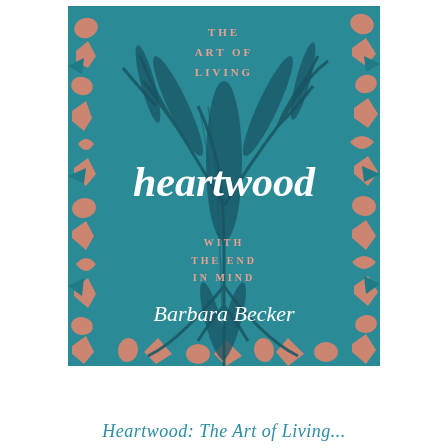[Figure (illustration): Book cover of 'Heartwood: The Art of Living with the End in Mind' by Barbara Becker. Teal/dark green background with illustrated dark tree roots/branches in center. Salmon/coral colored stylized heart and leaf shapes form a decorative border around the edges. White serif text reads 'THE ART OF LIVING' at top, large italic white script 'heartwood' in center, 'WITH THE END IN MIND' below, and 'Barbara Becker' in italic script near bottom.]
Heartwood: The Art of Living...